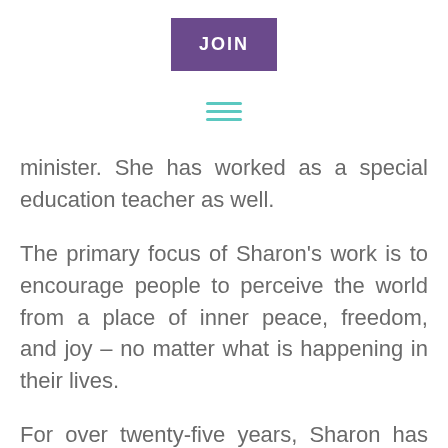[Figure (other): Purple JOIN button]
[Figure (other): Teal hamburger menu icon with three horizontal lines]
minister. She has worked as a special education teacher as well.
The primary focus of Sharon's work is to encourage people to perceive the world from a place of inner peace, freedom, and joy – no matter what is happening in their lives.
For over twenty-five years, Sharon has worked with